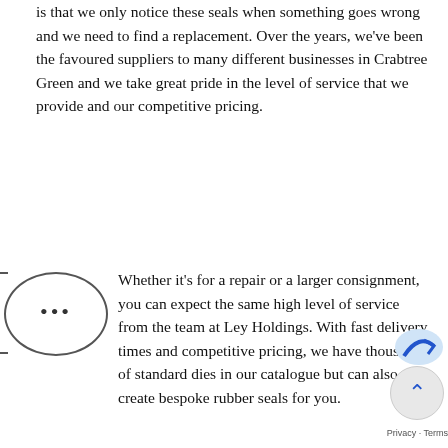is that we only notice these seals when something goes wrong and we need to find a replacement. Over the years, we've been the favoured suppliers to many different businesses in Crabtree Green and we take great pride in the level of service that we provide and our competitive pricing.
Whether it's for a repair or a larger consignment, you can expect the same high level of service from the team at Ley Holdings. With fast delivery times and competitive pricing, we have thousands of standard dies in our catalogue but can also create bespoke rubber seals for you.
We provide our wide range of rubber seals to customers in Crabtree Green, including in the automotive and shipping industry. If you own a repairs garage, for example, and you're searching for a reliable supply of seals for your business, then it pays to build a relationship with the team at Ley Holdings.
Perhaps you're developing a new product for manufacturing, you need a rubber seal supplier in Crabtree Green that can create something from scratch and supply it on time at a great